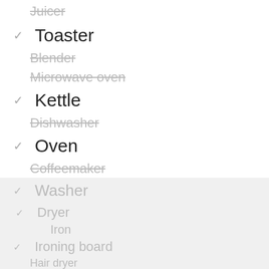Juicer (strikethrough)
✓ Toaster
Blender (strikethrough)
Microwave oven (strikethrough)
✓ Kettle
Dishwasher (strikethrough)
✓ Oven
Coffeemaker (strikethrough)
✓ Washer
Dryer
Iron
✓ Ironing board
Hair dryer
Cable TV (strikethrough)
We use cookies to ensure that we give you the best experience on our website. If you continue, we assume that you consent to receive cookies on our website.
OK | Узнать больше